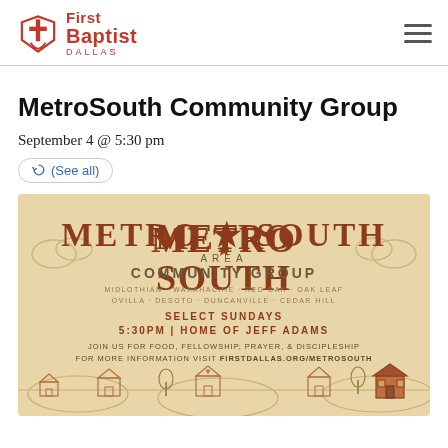First Baptist Dallas
MetroSouth Community Group
September 4 @ 5:30 pm
(See all)
[Figure (illustration): Metro South Area Community Group flyer with rustic western typography on a tan/beige background. Text reads: METRO * SOUTH / AREA / COMMUNITY GROUP / MIDLOTHIAN · WAXAHACHIE · RED OAK · OAK LEAF / OVILLA · DESOTO · DUNCANVILLE · CEDAR HILL / SELECT SUNDAYS / 5:30PM | HOME OF JEFF ADAMS / JOIN US FOR FOOD, FELLOWSHIP, PRAYER, & DISCIPLESHIP / FOR MORE INFORMATION VISIT FIRSTDALLAS.ORG/METROSOUTH. Bottom has illustrated houses and hills.]